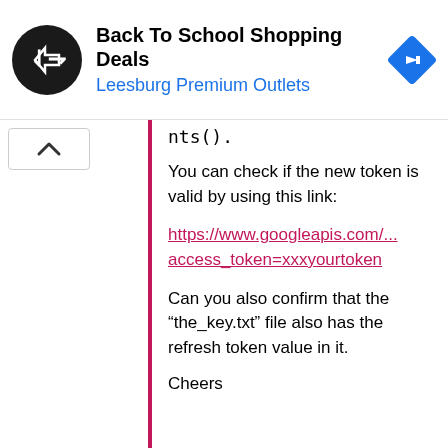[Figure (screenshot): Ad banner: Back To School Shopping Deals at Leesburg Premium Outlets with logo and navigation icon]
nts().
You can check if the new token is valid by using this link:
https://www.googleapis.com/... access_token=xxxyourtoken
Can you also confirm that the “the_key.txt” file also has the refresh token value in it.
Cheers